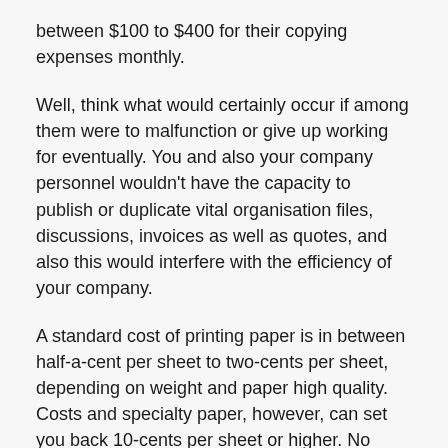between $100 to $400 for their copying expenses monthly.
Well, think what would certainly occur if among them were to malfunction or give up working for eventually. You and also your company personnel wouldn't have the capacity to publish or duplicate vital organisation files, discussions, invoices as well as quotes, and also this would interfere with the efficiency of your company.
A standard cost of printing paper is in between half-a-cent per sheet to two-cents per sheet, depending on weight and paper high quality. Costs and specialty paper, however, can set you back 10-cents per sheet or higher. No matter if you're making use of ink or toner (though ink is mosting likely to cost you a lot more)– replacing the cartridges in your